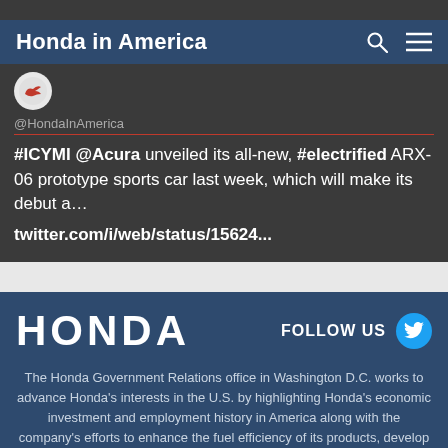Honda in America
@HondaInAmerica
#ICYMI @Acura unveiled its all-new, #electrified ARX-06 prototype sports car last week, which will make its debut a… twitter.com/i/web/status/15624...
[Figure (logo): HONDA wordmark logo in white on dark blue background]
FOLLOW US
The Honda Government Relations office in Washington D.C. works to advance Honda's interests in the U.S. by highlighting Honda's economic investment and employment history in America along with the company's efforts to enhance the fuel efficiency of its products, develop advanced safety technology, and deliver top-level quality to customers.
Home | Terms of Use | Privacy Policy